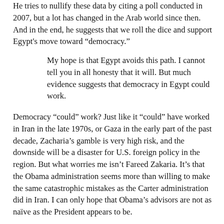He tries to nullify these data by citing a poll conducted in 2007, but a lot has changed in the Arab world since then. And in the end, he suggests that we roll the dice and support Egypt's move toward “democracy.”
My hope is that Egypt avoids this path. I cannot tell you in all honesty that it will. But much evidence suggests that democracy in Egypt could work.
Democracy “could” work? Just like it “could” have worked in Iran in the late 1970s, or Gaza in the early part of the past decade, Zacharia’s gamble is very high risk, and the downside will be a disaster for U.S. foreign policy in the region. But what worries me isn’t Fareed Zakaria. It’s that the Obama administration seems more than willing to make the same catastrophic mistakes as the Carter administration did in Iran. I can only hope that Obama’s advisors are not as naïve as the President appears to be.
It seems as if Zacharia and many of his counterparts in the MSM and at the White House are shocked that Egyptian